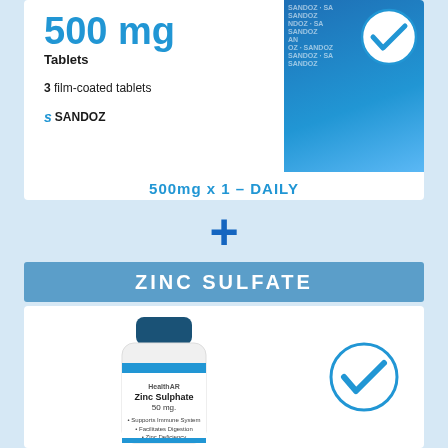[Figure (photo): Sandoz 500mg tablet box showing blue branding, 3 film-coated tablets label, Sandoz logo, and a blue checkmark circle on the right side]
500mg x 1 – DAILY
+
ZINC SULFATE
[Figure (photo): Zinc Sulphate 50mg supplement bottle with blue lid showing label: Zinc Sulphate 50mg, Supports Immune System, Facilitates Digestion, Zinc Deficiency]
[Figure (illustration): Blue checkmark in a circle]